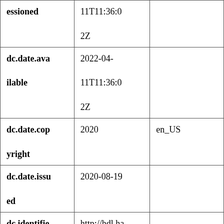| essioned | 11T11:36:02Z |  |
| dc.date.available | 2022-04-11T11:36:02Z |  |
| dc.date.copyright | 2020 | en_US |
| dc.date.issued | 2020-08-19 |  |
| dc.identifier.uri | http://hdl.handle.net/10725/13470 |  |